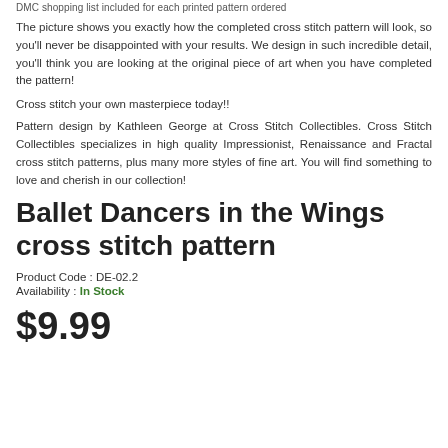DMC shopping list included for each printed pattern ordered
The picture shows you exactly how the completed cross stitch pattern will look, so you'll never be disappointed with your results. We design in such incredible detail, you'll think you are looking at the original piece of art when you have completed the pattern!
Cross stitch your own masterpiece today!!
Pattern design by Kathleen George at Cross Stitch Collectibles. Cross Stitch Collectibles specializes in high quality Impressionist, Renaissance and Fractal cross stitch patterns, plus many more styles of fine art. You will find something to love and cherish in our collection!
Ballet Dancers in the Wings cross stitch pattern
Product Code : DE-02.2
Availability : In Stock
$9.99